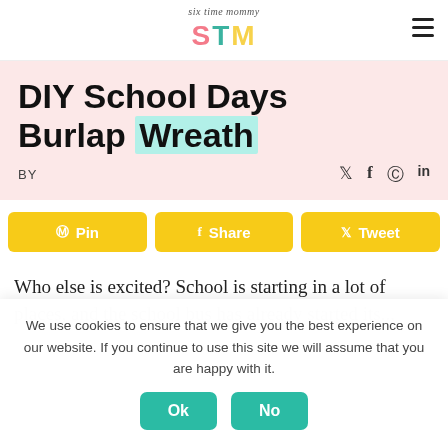Six Time Mommy (STM logo)
DIY School Days Burlap Wreath
BY
Social icons: twitter, facebook, pinterest, linkedin
Pin | Share | Tweet
Who else is excited? School is starting in a lot of
We use cookies to ensure that we give you the best experience on our website. If you continue to use this site we will assume that you are happy with it.
Ok | No